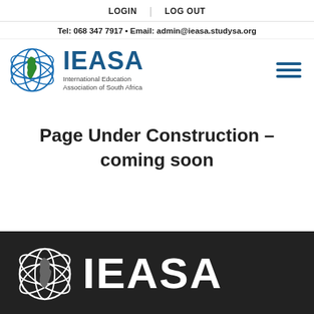LOGIN | LOG OUT
Tel: 068 347 7917 • Email: admin@ieasa.studysa.org
[Figure (logo): IEASA logo with globe and Africa map - International Education Association of South Africa]
Page Under Construction – coming soon
[Figure (logo): IEASA footer logo white on dark background, globe icon with Africa silhouette]